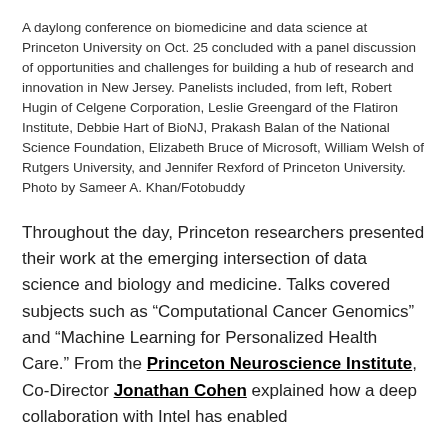A daylong conference on biomedicine and data science at Princeton University on Oct. 25 concluded with a panel discussion of opportunities and challenges for building a hub of research and innovation in New Jersey. Panelists included, from left, Robert Hugin of Celgene Corporation, Leslie Greengard of the Flatiron Institute, Debbie Hart of BioNJ, Prakash Balan of the National Science Foundation, Elizabeth Bruce of Microsoft, William Welsh of Rutgers University, and Jennifer Rexford of Princeton University. Photo by Sameer A. Khan/Fotobuddy
Throughout the day, Princeton researchers presented their work at the emerging intersection of data science and biology and medicine. Talks covered subjects such as “Computational Cancer Genomics” and “Machine Learning for Personalized Health Care.” From the Princeton Neuroscience Institute, Co-Director Jonathan Cohen explained how a deep collaboration with Intel has enabled